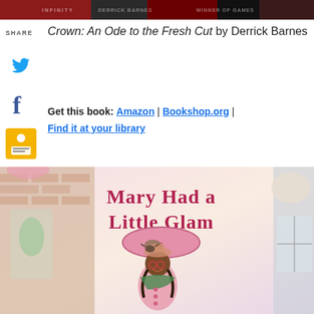[Figure (photo): Top banner image showing book cover art strip]
SHARE
Crown: An Ode to the Fresh Cut by Derrick Barnes
[Figure (logo): Twitter bird icon]
[Figure (logo): Facebook f icon]
[Figure (logo): Google Classroom icon]
Get this book: Amazon | Bookshop.org | Find it at your library
[Figure (photo): Book cover of Mary Had a Little Glam showing illustrated girl with umbrella and bird on hat in front of shops]